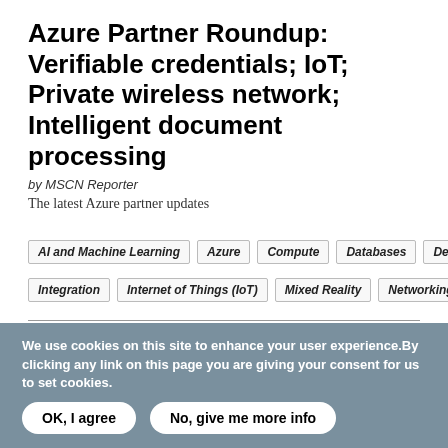Azure Partner Roundup: Verifiable credentials; IoT; Private wireless network; Intelligent document processing
by MSCN Reporter
The latest Azure partner updates
AI and Machine Learning
Azure
Compute
Databases
Development
Integration
Internet of Things (IoT)
Mixed Reality
Networking
Security
[Figure (map): Azure Load Balancer network diagram showing a world map with connected nodes across Americas and Europe, indicating Azure Load Balancer and sba.balancer.com web server.]
We use cookies on this site to enhance your user experience. By clicking any link on this page you are giving your consent for us to set cookies.
OK, I agree
No, give me more info